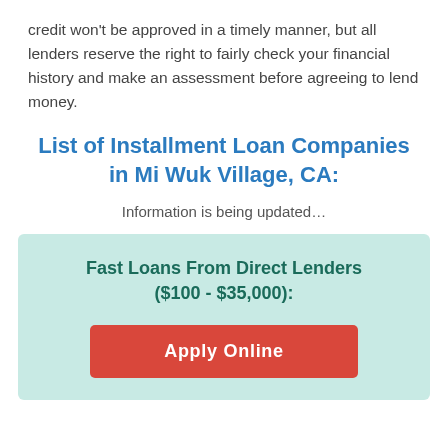credit won't be approved in a timely manner, but all lenders reserve the right to fairly check your financial history and make an assessment before agreeing to lend money.
List of Installment Loan Companies in Mi Wuk Village, CA:
Information is being updated…
Fast Loans From Direct Lenders ($100 - $35,000):
Apply Online